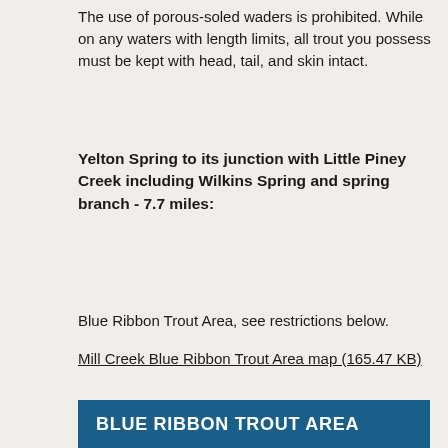The use of porous-soled waders is prohibited. While on any waters with length limits, all trout you possess must be kept with head, tail, and skin intact.
Yelton Spring to its junction with Little Piney Creek including Wilkins Spring and spring branch - 7.7 miles:
Blue Ribbon Trout Area, see restrictions below.
Mill Creek Blue Ribbon Trout Area map (165.47 KB)
BLUE RIBBON TROUT AREA
[Figure (illustration): Blue illustrated fish/trout icon]
Harvest is limited to maintain the maximum density of adult trout, create excellent catch-and-release fishing, and provide the occasional chance to harvest a trophy. These areas on the Current and North Fork